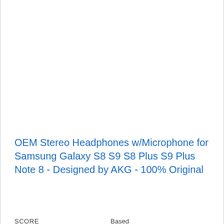OEM Stereo Headphones w/Microphone for Samsung Galaxy S8 S9 S8 Plus S9 Plus Note 8 - Designed by AKG - 100% Original
View on Amazon
SCORE
Based